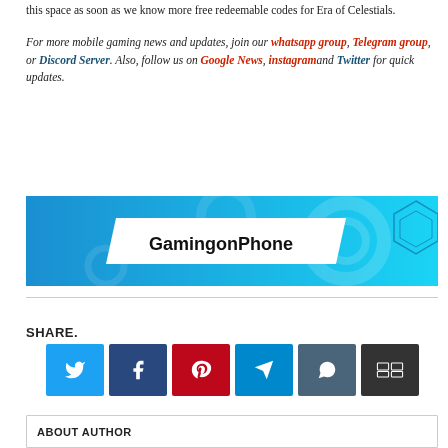These are all working and tested today. For now, we will update this space as soon as we know more free redeemable codes for Era of Celestials.
For more mobile gaming news and updates, join our whatsapp group, Telegram group, or Discord Server. Also, follow us on Google News, instagram and Twitter for quick updates.
[Figure (logo): GamingonPhone banner with blue background and white logo label]
SHARE.
[Figure (infographic): Social media share buttons: Twitter (light blue), Facebook (dark blue), Pinterest (red), Telegram (teal), WhatsApp (dark teal), More (dark grey)]
ABOUT AUTHOR